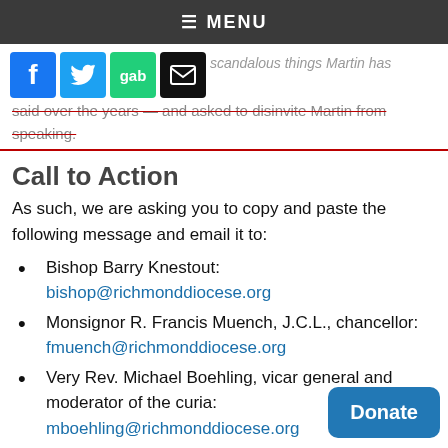MENU
[Figure (other): Social share buttons: Facebook (blue), Twitter (light blue), Gab (green), Email (black envelope icon)]
scandalous things Martin has said over the years — and asked to disinvite Martin from speaking.
Call to Action
As such, we are asking you to copy and paste the following message and email it to:
Bishop Barry Knestout: bishop@richmonddiocese.org
Monsignor R. Francis Muench, J.C.L., chancellor: fmuench@richmonddiocese.org
Very Rev. Michael Boehling, vicar general and moderator of the curia: mboehling@richmonddiocese.org
Rachael Laustrup, director of Social Ministries & Respect